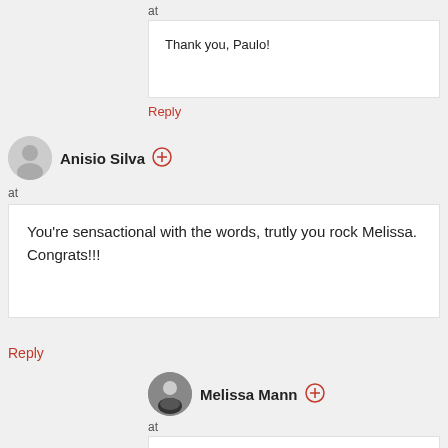at
Thank you, Paulo!
Reply
Anisio Silva
at
You're sensactional with the words, trutly you rock Melissa. Congrats!!!
Reply
Melissa Mann
at
Thank you kindly, Anisio.